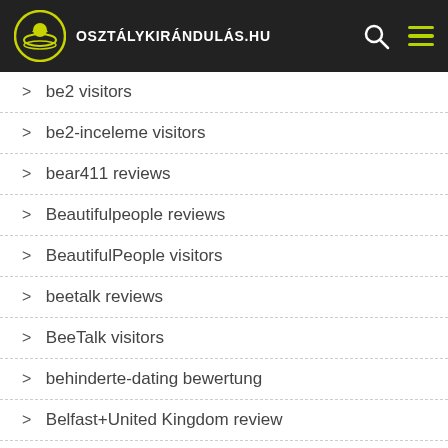OSZTÁLYKIRÁNDULÁS.HU
be2 visitors
be2-inceleme visitors
bear411 reviews
Beautifulpeople reviews
BeautifulPeople visitors
beetalk reviews
BeeTalk visitors
behinderte-dating bewertung
Belfast+United Kingdom review
belgium-dating review